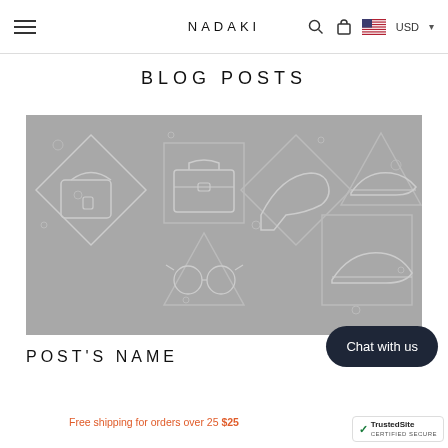NADAKI   USD
BLOG POSTS
[Figure (illustration): Gray illustrated banner image showing line-art fashion accessories: handbags, briefcase, high-heel shoe, and sneaker drawn in diamond and triangle geometric shapes on a gray background.]
POST'S NAME
Chat with us
Free shipping for orders over 25 $25
TrustedSite CERTIFIED SECURE